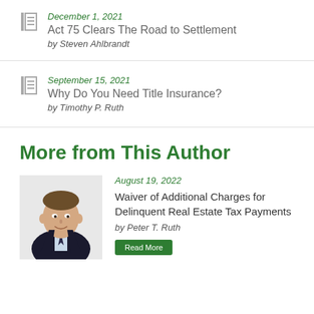December 1, 2021
Act 75 Clears The Road to Settlement
by Steven Ahlbrandt
September 15, 2021
Why Do You Need Title Insurance?
by Timothy P. Ruth
More from This Author
August 19, 2022
Waiver of Additional Charges for Delinquent Real Estate Tax Payments
by Peter T. Ruth
[Figure (photo): Headshot photo of Peter T. Ruth, a man in a suit and tie]